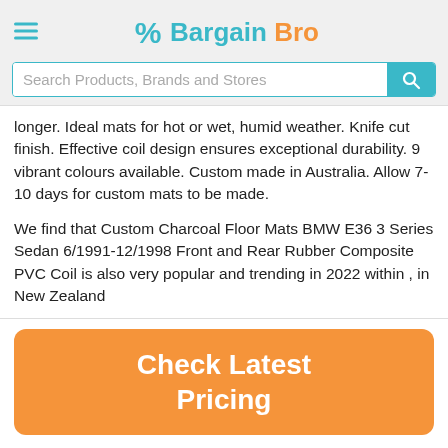Bargain Bro
longer. Ideal mats for hot or wet, humid weather. Knife cut finish. Effective coil design ensures exceptional durability. 9 vibrant colours available. Custom made in Australia. Allow 7-10 days for custom mats to be made.
We find that Custom Charcoal Floor Mats BMW E36 3 Series Sedan 6/1991-12/1998 Front and Rear Rubber Composite PVC Coil is also very popular and trending in 2022 within , in New Zealand
Check Latest Pricing
Disclosure: Checking latest pricing will search eBay to find the best price for this product. If you purchase this item we may earn a small commission.
Custom Charcoal Floor Mats BMW E36 3 Series Sedan 6/1991-